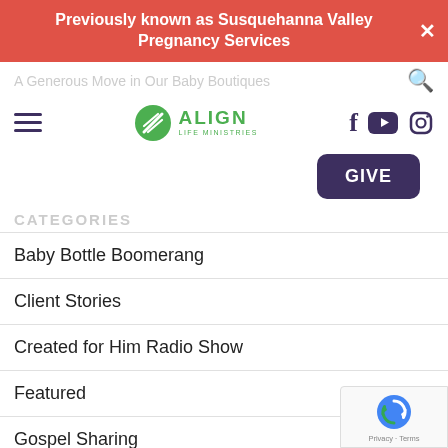Previously known as Susquehanna Valley Pregnancy Services
A Generous Move in Our Baby Boutiques
[Figure (logo): Align Life Ministries logo with green circle emblem and green text]
CATEGORIES
Baby Bottle Boomerang
Client Stories
Created for Him Radio Show
Featured
Gospel Sharing
LifeSource for Leaders
News
Radio Stories (WDAC)